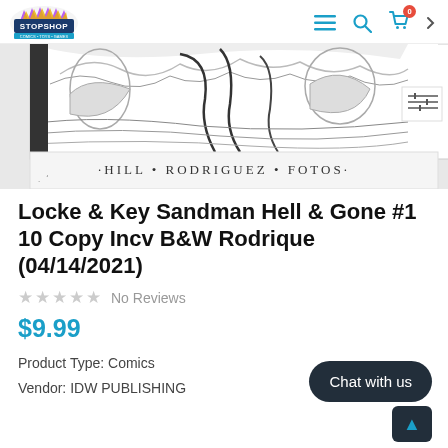Stop Shop — navigation header with logo, hamburger menu, search, and cart (0 items)
[Figure (photo): Black and white comic book cover artwork showing figures with the text 'HILL • RODRIGUEZ • FOTOS' at the bottom]
Locke & Key Sandman Hell & Gone #1 10 Copy Incv B&W Rodrique (04/14/2021)
No Reviews
$9.99
Product Type: Comics
Vendor: IDW PUBLISHING
Chat with us